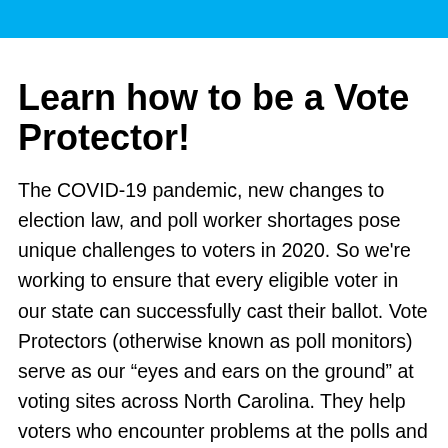Learn how to be a Vote Protector!
The COVID-19 pandemic, new changes to election law, and poll worker shortages pose unique challenges to voters in 2020. So we're working to ensure that every eligible voter in our state can successfully cast their ballot. Vote Protectors (otherwise known as poll monitors) serve as our “eyes and ears on the ground” at voting sites across North Carolina. They help voters who encounter problems at the polls and ensure that every polling place is running as it should – sounding the alarm when something isn’t right. This training will show you how